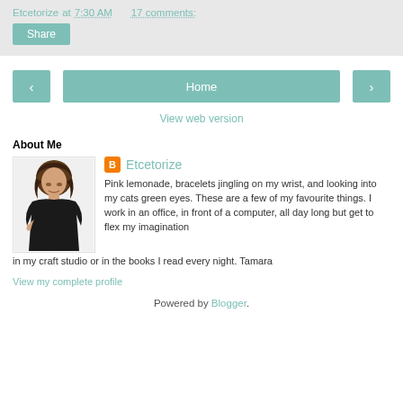Etcetorize at 7:30 AM   17 comments:
Share
< Home >
View web version
About Me
Etcetorize
Pink lemonade, bracelets jingling on my wrist, and looking into my cats green eyes. These are a few of my favourite things. I work in an office, in front of a computer, all day long but get to flex my imagination in my craft studio or in the books I read every night. Tamara
View my complete profile
Powered by Blogger.